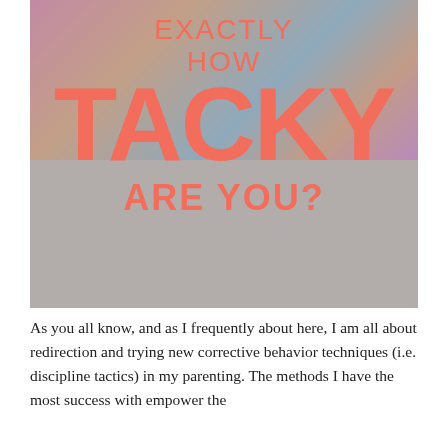[Figure (infographic): A photo with colorful balloons in the background overlaid with large coral/salmon colored text reading 'EXACTLY HOW TACKY ARE YOU?' on a gray-toned background.]
As you all know, and as I frequently about here, I am all about redirection and trying new corrective behavior techniques (i.e. discipline tactics) in my parenting. The methods I have the most success with empower the